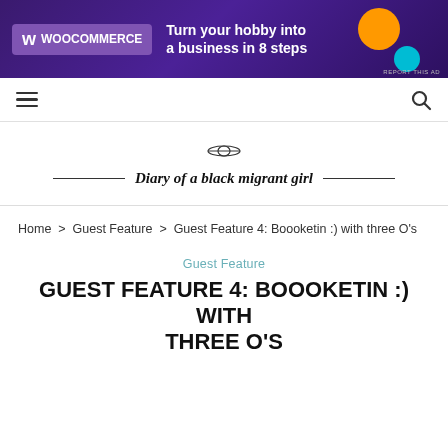[Figure (screenshot): WooCommerce advertisement banner: purple background with WooCommerce logo, text 'Turn your hobby into a business in 8 steps', orange and teal decorative circles, and 'REPORT THIS AD' small text.]
☰  [nav bar with hamburger menu and search icon]
[Figure (logo): Small logo image (site logo placeholder) above the site title 'Diary of a black migrant girl' with decorative horizontal rules on each side.]
Diary of a black migrant girl
Home > Guest Feature > Guest Feature 4: Boooketin :) with three O's
Guest Feature
GUEST FEATURE 4: BOOOKETIN :) WITH THREE O'S